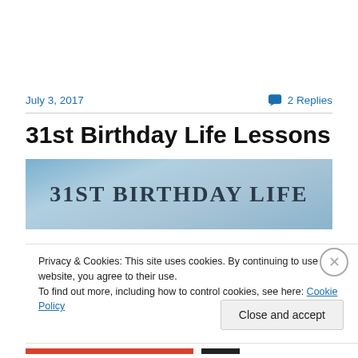July 3, 2017
2 Replies
31st Birthday Life Lessons
[Figure (photo): Hero image with text '31ST BIRTHDAY LIFE' on a sky-blue background]
Privacy & Cookies: This site uses cookies. By continuing to use this website, you agree to their use.
To find out more, including how to control cookies, see here: Cookie Policy
Close and accept